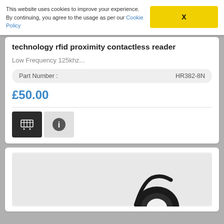This website uses cookies to improve your experience. By continuing, you agree to the usage as per our Cookie Policy
X
technology rfid proximity contactless reader
Low Frequency 125khz...
| Part Number : | HR382-8N |
| --- | --- |
£50.00
[Figure (illustration): Add to cart button (dark square with basket icon) and info button (grey square with 'i' icon)]
[Figure (photo): Partial view of a product (appears to be an RFID reader device) in a light grey image box, black circular component visible at bottom right]